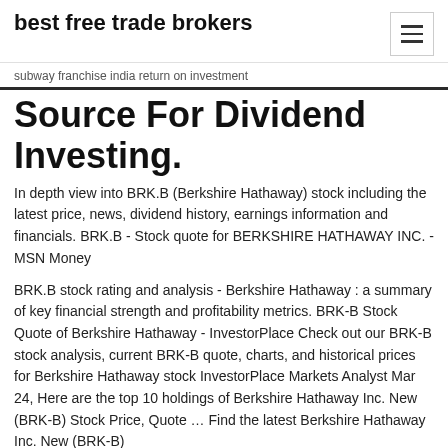best free trade brokers
subway franchise india return on investment
Source For Dividend Investing.
In depth view into BRK.B (Berkshire Hathaway) stock including the latest price, news, dividend history, earnings information and financials. BRK.B - Stock quote for BERKSHIRE HATHAWAY INC. - MSN Money
BRK.B stock rating and analysis - Berkshire Hathaway : a summary of key financial strength and profitability metrics. BRK-B Stock Quote of Berkshire Hathaway - InvestorPlace Check out our BRK-B stock analysis, current BRK-B quote, charts, and historical prices for Berkshire Hathaway stock InvestorPlace Markets Analyst Mar 24, Here are the top 10 holdings of Berkshire Hathaway Inc. New (BRK-B) Stock Price, Quote … Find the latest Berkshire Hathaway Inc. New (BRK-B)